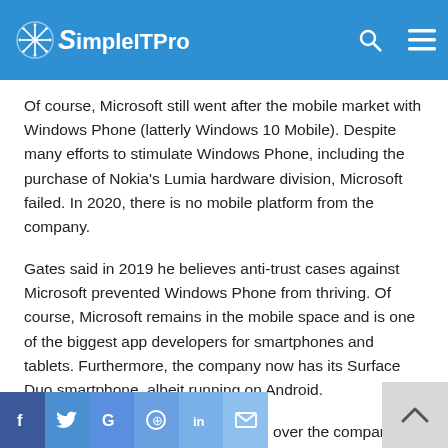SimpleITPro
Of course, Microsoft still went after the mobile market with Windows Phone (latterly Windows 10 Mobile). Despite many efforts to stimulate Windows Phone, including the purchase of Nokia's Lumia hardware division, Microsoft failed. In 2020, there is no mobile platform from the company.
Gates said in 2019 he believes anti-trust cases against Microsoft prevented Windows Phone from thriving. Of course, Microsoft remains in the mobile space and is one of the biggest app developers for smartphones and tablets. Furthermore, the company now has its Surface Duo smartphone, albeit running on Android.
However, it is a question that hangs over the company and clearly Gates… what might have been?
f  y  G  ⊕  in  ✉